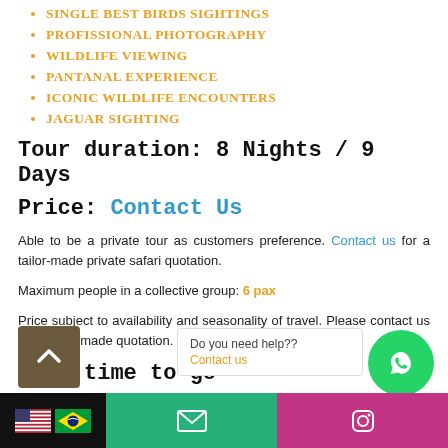SINGLE BEST BIRDS SIGHTINGS
PROFISSIONAL PHOTOGRAPHY
WILDLIFE VIEWING
PANTANAL EXPERIENCE
ICONIC WILDLIFE ENCOUNTERS
JAGUAR SIGHTING
Tour duration: 8 Nights / 9 Days
Price: Contact Us
Able to be a private tour as customers preference. Contact us for a tailor-made private safari quotation.
Maximum people in a collective group: 6 pax
Price subject to availability and seasonality of travel. Please contact us for a tailor-made quotation.
Best time to go